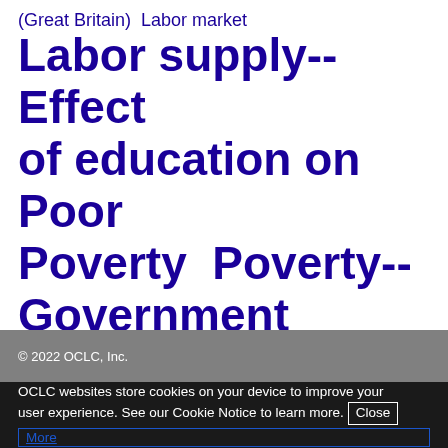(Great Britain)  Labor market  Labor supply--Effect of education on  Poor  Poverty  Poverty--Government policy  Social security  Wages  Wages--Effect of education on
© 2022 OCLC, Inc.
OCLC websites store cookies on your device to improve your user experience. See our Cookie Notice to learn more. Close  More